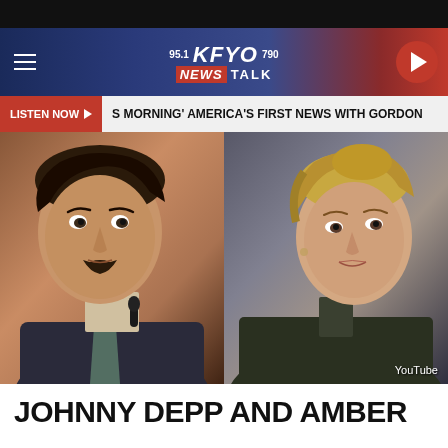[Figure (screenshot): KFYO 95.1 / 790 News Talk radio station website header with logo and navigation]
[Figure (screenshot): Listen Now button bar with scrolling ticker: S MORNING' AMERICA'S FIRST NEWS WITH GORDON]
[Figure (photo): Side-by-side courtroom photos of Johnny Depp (left, in suit and tie, speaking into microphone) and Amber Heard (right, blonde hair up, in dark jacket), with YouTube attribution badge]
JOHNNY DEPP AND AMBER